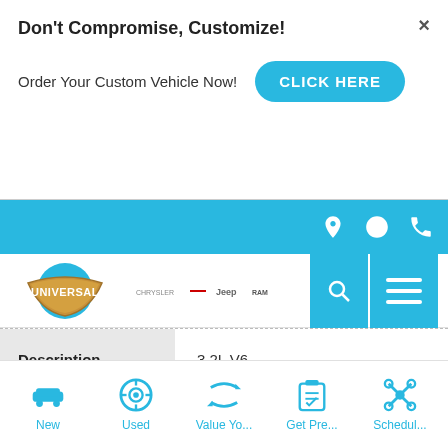Don't Compromise, Customize!
Order Your Custom Vehicle Now!
CLICK HERE
[Figure (screenshot): Universal dealership navigation bar with location, clock, and phone icons on blue background]
[Figure (logo): Universal dealership logo with Chrysler, Dodge, Jeep, Ram brand logos]
| Description | Value |
| --- | --- |
| Description | 3.2L V6 |
| Drivetrain | 4WD |
| Fuel Type | Gasoline |
New
Used
Value Yo...
Get Pre...
Schedul...